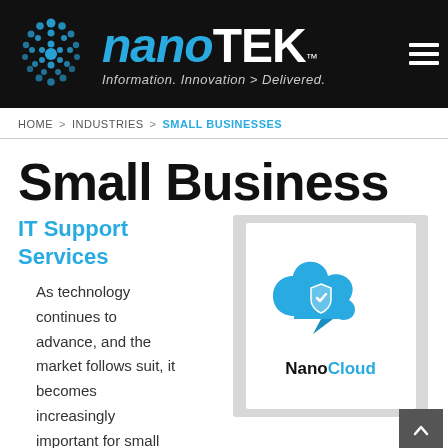[Figure (logo): NanoTek logo with blue dot-circle icon, brand name NANO in blue italic and TEK in white bold, tagline 'Information. Innovation > Delivered.' in gray italic, hamburger menu icon top right, all on black background]
HOME > INDUSTRIES > SMALL BUSINESSES
Small Business
IT Support Services
As technology continues to advance, and the market follows suit, it becomes increasingly important for small
[Figure (logo): NanoCloud logo: blue cloud shape with white shield icon, speech bubble tail, text 'NanoCloud' with Nano in black and Cloud in blue, on white background inside gray rounded box]